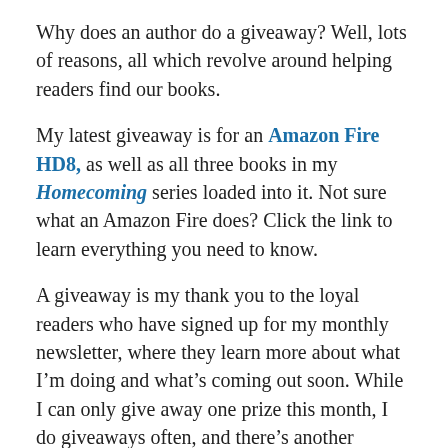Why does an author do a giveaway? Well, lots of reasons, all which revolve around helping readers find our books.
My latest giveaway is for an Amazon Fire HD8, as well as all three books in my Homecoming series loaded into it. Not sure what an Amazon Fire does? Click the link to learn everything you need to know.
A giveaway is my thank you to the loyal readers who have signed up for my monthly newsletter, where they learn more about what I’m doing and what’s coming out soon. While I can only give away one prize this month, I do giveaways often, and there’s another Amazon Fire in reserve to give away later this year.
As I said (you caught this, right?) the giveaway is for my newsletter subscribers, but you can sign up now and still be eligible to win. Sign up here, and remember if you decide later that you need a break, you can easily unsubscribe.